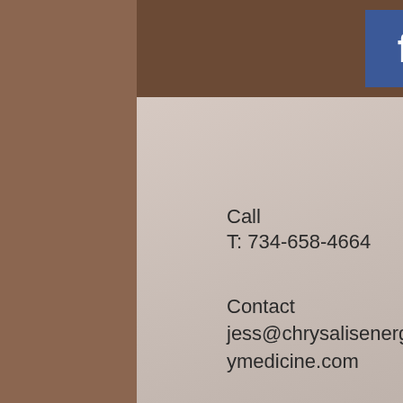[Figure (other): Social media icons bar with Facebook (blue), Twitter (cyan/blue), and Google+ (red/orange) icons]
Call
T: 734-658-4664
Contact
jess@chrysalisenergymedicine.com
© 2015 by JLT. Proudly created with Wix.com